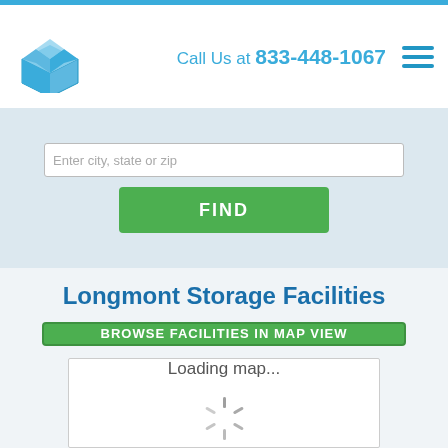Call Us at 833-448-1067
[Figure (screenshot): Search bar with dropdown and FIND button on a light blue-gray background]
Longmont Storage Facilities
BROWSE FACILITIES IN MAP VIEW
[Figure (screenshot): Map loading area showing 'Loading map...' text with a spinning loader icon]